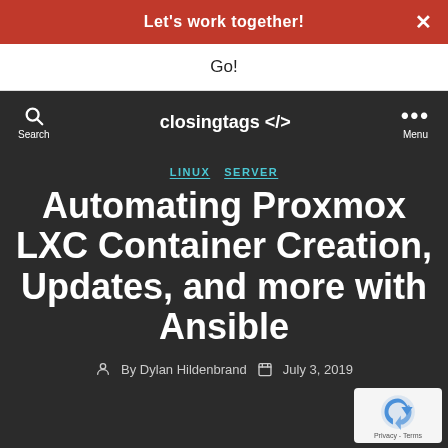Let's work together!
Go!
closingtags </> Search Menu
LINUX SERVER
Automating Proxmox LXC Container Creation, Updates, and more with Ansible
By Dylan Hildenbrand  July 3, 2019